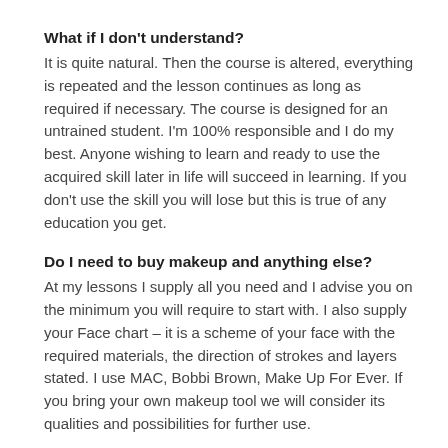What if I don't understand?
It is quite natural. Then the course is altered, everything is repeated and the lesson continues as long as required if necessary. The course is designed for an untrained student. I'm 100% responsible and I do my best. Anyone wishing to learn and ready to use the acquired skill later in life will succeed in learning. If you don't use the skill you will lose but this is true of any education you get.
Do I need to buy makeup and anything else?
At my lessons I supply all you need and I advise you on the minimum you will require to start with. I also supply your Face chart – it is a scheme of your face with the required materials, the direction of strokes and layers stated. I use MAC, Bobbi Brown, Make Up For Ever. If you bring your own makeup tool we will consider its qualities and possibilities for further use.
May I make a gift of a course or ask to make a gift for myself?
Yes. You can have an electronic gift certificate with the name of the recipient and the price.